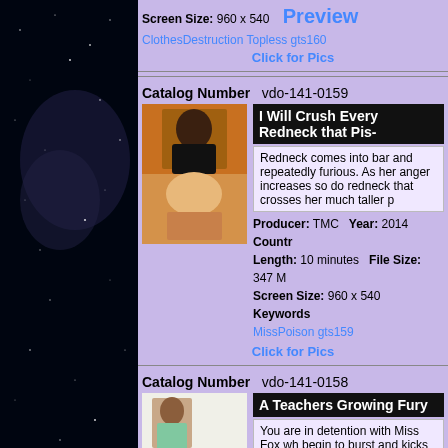Screen Size: 960 x 540   Preview
ClothesDestruction Topless gts160
Click for Pics
Catalog Number  vdo-141-0159
I Will Crush Every Redneck that Pis-
Redneck comes into bar and repeatedly furious. As her anger increases so do redneck that crosses her much taller p
Producer: TMC  Year: 2014  Country: Length: 10 minutes  File Size: 347 M Screen Size: 960 x 540  Keywords: MissPoison gts159
[Figure (photo): Two-panel thumbnail image for vdo-141-0159]
Click for Pics
Catalog Number  vdo-141-0158
A Teachers Growing Fury
You are in detention with Miss Fox wh begin to burst and kicks you out of cla her bad students a lesson.
Producer: TMC  Year: 2014  Country: Length: 6 minutes  File Size: 224 Me Screen Size: 960 x 540  Preview Savannah SavannahFox Pornstar gts1
[Figure (photo): Three-panel thumbnail image for vdo-141-0158]
Click for Pics